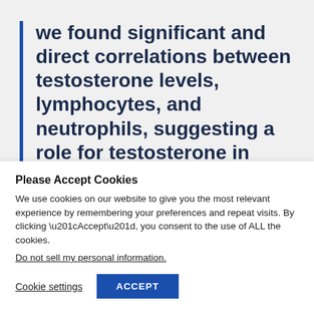we found significant and direct correlations between testosterone levels, lymphocytes, and neutrophils, suggesting a role for testosterone in aberrant immune
Please Accept Cookies
We use cookies on our website to give you the most relevant experience by remembering your preferences and repeat visits. By clicking “Accept”, you consent to the use of ALL the cookies.
Do not sell my personal information.
Cookie settings   ACCEPT